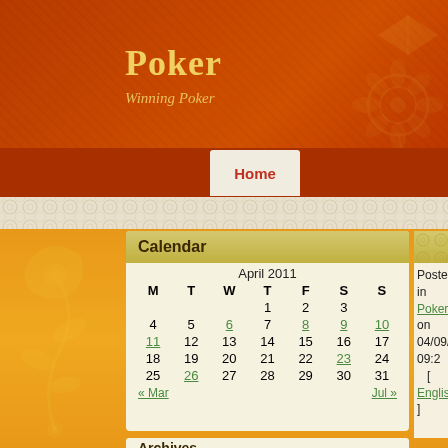Poker
Winning Poker
Home
| M | T | W | T | F | S | S |
| --- | --- | --- | --- | --- | --- | --- |
|  |  |  | 1 | 2 | 3 |  |
| 4 | 5 | 6 | 7 | 8 | 9 | 10 |
| 11 | 12 | 13 | 14 | 15 | 16 | 17 |
| 18 | 19 | 20 | 21 | 22 | 23 | 24 |
| 25 | 26 | 27 | 28 | 29 | 30 | 31 |
« Mar    Jul »
Calendar
Posted in Poker on 04/09/2011 09:2
[ English ]

Poker comes with its very own WPT knows that pocket Quee exists more to poker lingo tha

A lot of websites and message ways to examine poker shorth poker gamblers use to describ
Archives